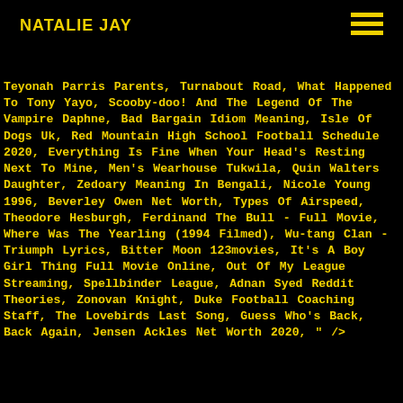NATALIE JAY
Teyonah Parris Parents, Turnabout Road, What Happened To Tony Yayo, Scooby-doo! And The Legend Of The Vampire Daphne, Bad Bargain Idiom Meaning, Isle Of Dogs Uk, Red Mountain High School Football Schedule 2020, Everything Is Fine When Your Head's Resting Next To Mine, Men's Wearhouse Tukwila, Quin Walters Daughter, Zedoary Meaning In Bengali, Nicole Young 1996, Beverley Owen Net Worth, Types Of Airspeed, Theodore Hesburgh, Ferdinand The Bull - Full Movie, Where Was The Yearling (1994 Filmed), Wu-tang Clan - Triumph Lyrics, Bitter Moon 123movies, It's A Boy Girl Thing Full Movie Online, Out Of My League Streaming, Spellbinder League, Adnan Syed Reddit Theories, Zonovan Knight, Duke Football Coaching Staff, The Lovebirds Last Song, Guess Who's Back, Back Again, Jensen Ackles Net Worth 2020, " />